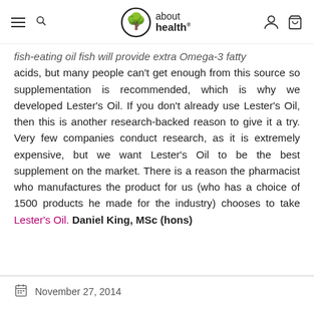about health
fish-eating oil fish will provide extra Omega-3 fatty acids, but many people can't get enough from this source so supplementation is recommended, which is why we developed Lester's Oil. If you don't already use Lester's Oil, then this is another research-backed reason to give it a try. Very few companies conduct research, as it is extremely expensive, but we want Lester's Oil to be the best supplement on the market. There is a reason the pharmacist who manufactures the product for us (who has a choice of 1500 products he made for the industry) chooses to take Lester's Oil. Daniel King, MSc (hons)
November 27, 2014